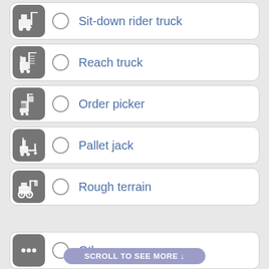Sit-down rider truck
Reach truck
Order picker
Pallet jack
Rough terrain
Other
SCROLL TO SEE MORE ↓